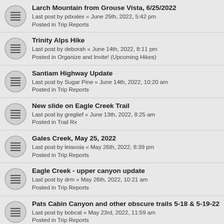Larch Mountain from Grouse Vista, 6/25/2022
Last post by pdxalex « June 25th, 2022, 5:42 pm
Posted in Trip Reports
Trinity Alps Hike
Last post by deborah « June 14th, 2022, 8:11 pm
Posted in Organize and Invite! (Upcoming Hikes)
Santiam Highway Update
Last post by Sugar Pine « June 14th, 2022, 10:20 am
Posted in Trip Reports
New slide on Eagle Creek Trail
Last post by greglief « June 13th, 2022, 8:25 am
Posted in Trail Rx
Gales Creek, May 25, 2022
Last post by leiavoia « May 26th, 2022, 8:39 pm
Posted in Trip Reports
Eagle Creek - upper canyon update
Last post by drm « May 26th, 2022, 10:21 am
Posted in Trip Reports
Pats Cabin Canyon and other obscure trails 5-18 & 5-19-22
Last post by bobcat « May 23rd, 2022, 11:59 am
Posted in Trip Reports